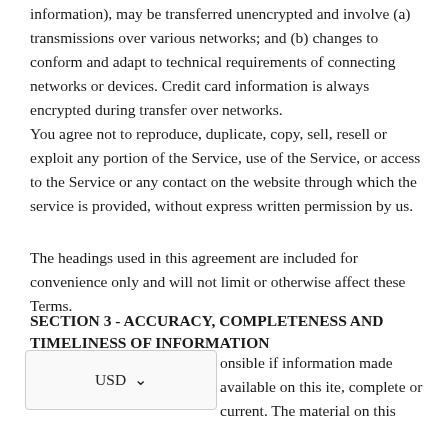information), may be transferred unencrypted and involve (a) transmissions over various networks; and (b) changes to conform and adapt to technical requirements of connecting networks or devices. Credit card information is always encrypted during transfer over networks.
You agree not to reproduce, duplicate, copy, sell, resell or exploit any portion of the Service, use of the Service, or access to the Service or any contact on the website through which the service is provided, without express written permission by us.
The headings used in this agreement are included for convenience only and will not limit or otherwise affect these Terms.
SECTION 3 - ACCURACY, COMPLETENESS AND TIMELINESS OF INFORMATION
onsible if information made available on this ite, complete or current. The material on this